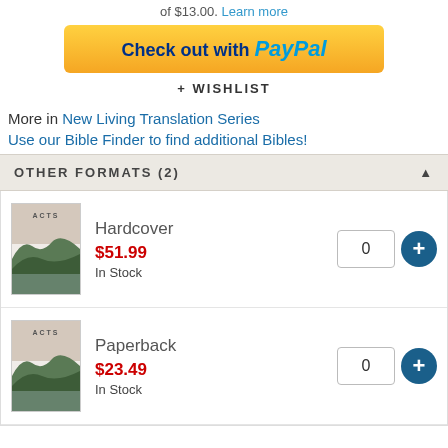of $13.00. Learn more
[Figure (other): PayPal checkout button with yellow/gold background]
+ WISHLIST
More in New Living Translation Series
Use our Bible Finder to find additional Bibles!
OTHER FORMATS (2)
[Figure (illustration): Book cover for ACTS hardcover with landscape mountain/hills image]
Hardcover
$51.99
In Stock
[Figure (illustration): Book cover for ACTS paperback with landscape mountain/hills image]
Paperback
$23.49
In Stock